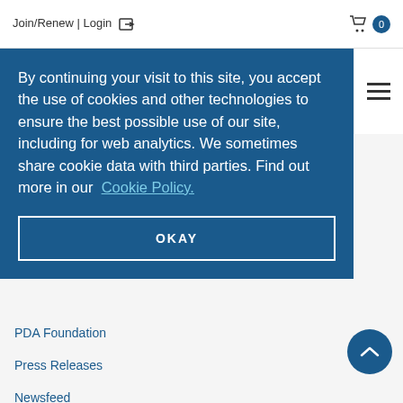Join/Renew | Login  🛒 0
By continuing your visit to this site, you accept the use of cookies and other technologies to ensure the best possible use of our site, including for web analytics. We sometimes share cookie data with third parties. Find out more in our Cookie Policy.
OKAY
PDA Foundation
Press Releases
Newsfeed
Buyer's Guide
LEGAL